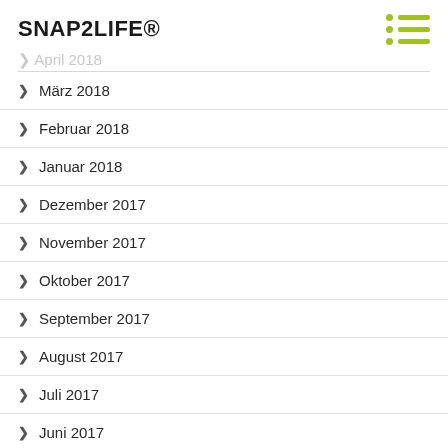SNAP2LIFE®
März 2018
Februar 2018
Januar 2018
Dezember 2017
November 2017
Oktober 2017
September 2017
August 2017
Juli 2017
Juni 2017
Mai 2017